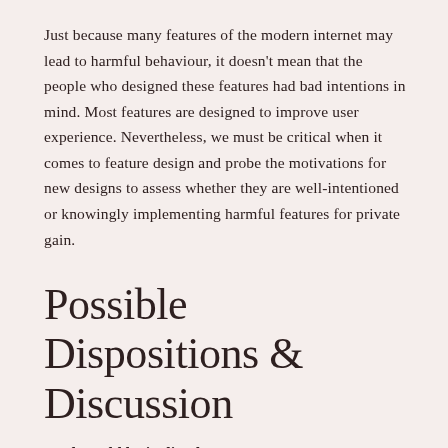Just because many features of the modern internet may lead to harmful behaviour, it doesn't mean that the people who designed these features had bad intentions in mind. Most features are designed to improve user experience. Nevertheless, we must be critical when it comes to feature design and probe the motivations for new designs to assess whether they are well-intentioned or knowingly implementing harmful features for private gain.
Possible Dispositions & Discussion
UXd would be inclined to:
Create user experiences that are focused on users and improving their